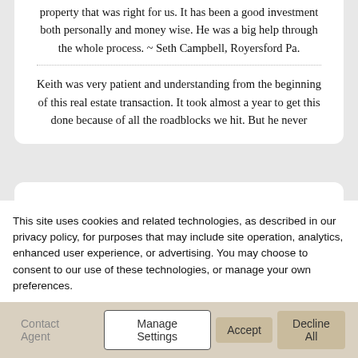property that was right for us. It has been a good investment both personally and money wise. He was a big help through the whole process. ~ Seth Campbell, Royersford Pa.
Keith was very patient and understanding from the beginning of this real estate transaction. It took almost a year to get this done because of all the roadblocks we hit. But he never
Areas Served
Binghamton
Deposit
Dunmore
Endicott
Endwell
Greene
This site uses cookies and related technologies, as described in our privacy policy, for purposes that may include site operation, analytics, enhanced user experience, or advertising. You may choose to consent to our use of these technologies, or manage your own preferences.